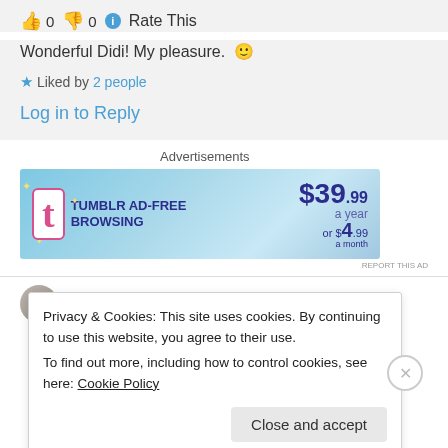👍 0 👎 0 ℹ Rate This
Wonderful Didi! My pleasure. 🙂
⭐ Liked by 2 people
Log in to Reply
Advertisements
[Figure (screenshot): Tumblr Ad-Free Browsing advertisement banner showing $39.99 a year or $4.99 a month]
mathias sager on 19/02/2018 at 12:40
Privacy & Cookies: This site uses cookies. By continuing to use this website, you agree to their use.
To find out more, including how to control cookies, see here: Cookie Policy
Close and accept